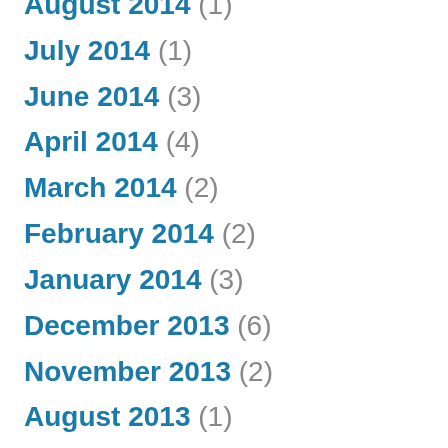August 2014 (1)
July 2014 (1)
June 2014 (3)
April 2014 (4)
March 2014 (2)
February 2014 (2)
January 2014 (3)
December 2013 (6)
November 2013 (2)
August 2013 (1)
July 2013 (1)